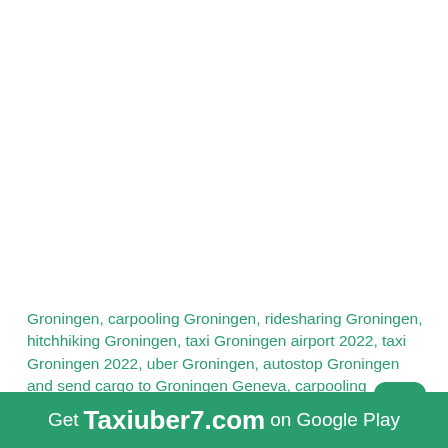Groningen, carpooling Groningen, ridesharing Groningen, hitchhiking Groningen, taxi Groningen airport 2022, taxi Groningen 2022, uber Groningen, autostop Groningen and send cargo to Groningen Geneva, carpooling Geneva, ridesharing Geneva, hitchhiking Geneva, taxi Geneva airport 2022, taxi Geneva 2022, uber Geneva, autostop Geneva and send cargo to Geneva, carpooling Geneva, ridesharing Geneva,
[Figure (other): Green rounded square button with white letter T]
Get Taxiuber7.com on Google Play